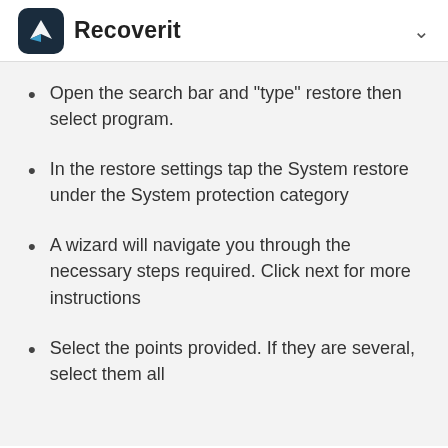Recoverit
Open the search bar and "type" restore then select program.
In the restore settings tap the System restore under the System protection category
A wizard will navigate you through the necessary steps required. Click next for more instructions
Select the points provided. If they are several, select them all